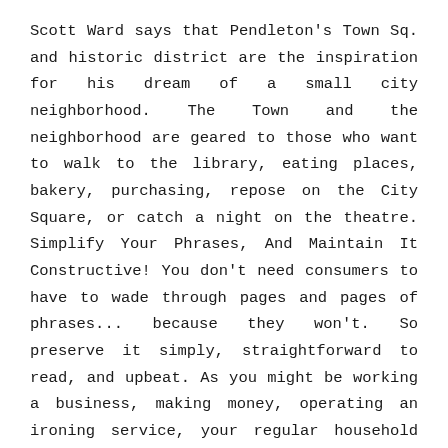Scott Ward says that Pendleton's Town Sq. and historic district are the inspiration for his dream of a small city neighborhood. The Town and the neighborhood are geared to those who want to walk to the library, eating places, bakery, purchasing, repose on the City Square, or catch a night on the theatre. Simplify Your Phrases, And Maintain It Constructive! You don't need consumers to have to wade through pages and pages of phrases... because they won't. So preserve it simply, straightforward to read, and upbeat. As you might be working a business, making money, operating an ironing service, your regular household insurance coverage would not cover you.
In case you are a member of one in every of Quebec's